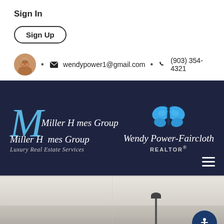Sign In
Sign Up
wendypower1@gmail.com  •  (903) 354-4321
[Figure (logo): Miller Homes Group Luxury Real Estate Services and Wendy Power-Faircloth REALTOR banner on dark navy background with butterfly logo and large decorative M]
[Figure (photo): Interior room photo showing ceiling and floor area, minimalist space with a lamp stand visible]